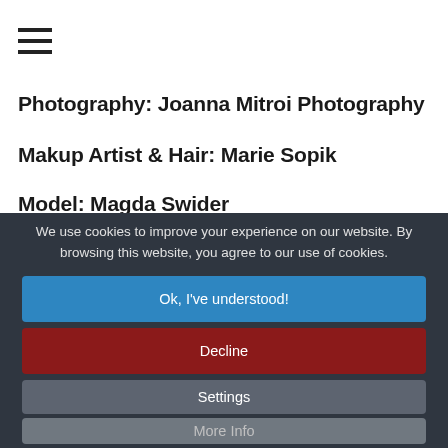[Figure (other): Hamburger menu icon (three horizontal lines)]
Photography: Joanna Mitroi Photography
Makup Artist & Hair: Marie Sopik
Model: Magda Swider
We use cookies to improve your experience on our website. By browsing this website, you agree to our use of cookies.
Ok, I've understood!
Decline
Settings
More Info